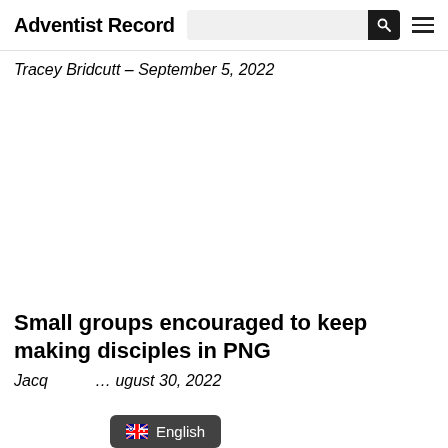Adventist Record
Tracey Bridcutt – September 5, 2022
[Figure (other): Large blank/white image placeholder area]
Small groups encouraged to keep making disciples in PNG
Jacq… ugust 30, 2022
English